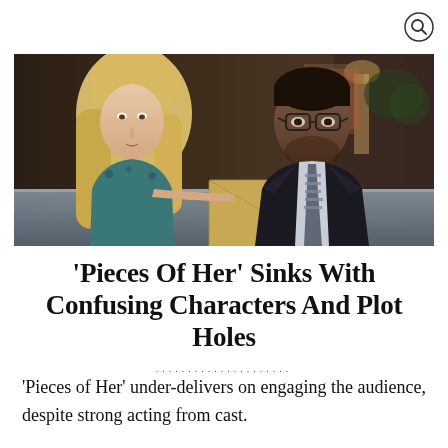[Figure (photo): Two people sitting at a bar or restaurant table. A blonde woman in a teal floral top on the left and a man in a dark suit with a striped tie on the right. A glass of water and a manila envelope are on the table.]
‘Pieces Of Her’ Sinks With Confusing Characters And Plot Holes
‘Pieces of Her’ under-delivers on engaging the audience, despite strong acting from cast.